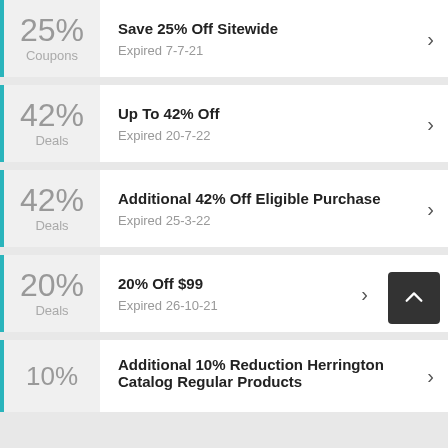25% Coupons — Save 25% Off Sitewide — Expired 7-7-21
42% Deals — Up To 42% Off — Expired 20-7-22
42% Deals — Additional 42% Off Eligible Purchase — Expired 25-3-22
20% Deals — 20% Off $99 — Expired 26-10-21
10% — Additional 10% Reduction Herrington Catalog Regular Products